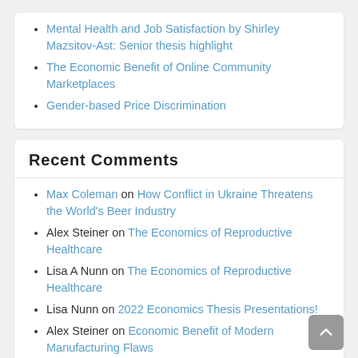Mental Health and Job Satisfaction by Shirley Mazsitov-Ast: Senior thesis highlight
The Economic Benefit of Online Community Marketplaces
Gender-based Price Discrimination
Recent Comments
Max Coleman on How Conflict in Ukraine Threatens the World's Beer Industry
Alex Steiner on The Economics of Reproductive Healthcare
Lisa A Nunn on The Economics of Reproductive Healthcare
Lisa Nunn on 2022 Economics Thesis Presentations!
Alex Steiner on Economic Benefit of Modern Manufacturing Flaws
Lisa Nunn on Economic Benefit of Modern Manufacturing Flaws
Melissa on Leafy Luxury: The Market for Rare Houseplants
Tags
Amazon Behavioral Behavioral Economics bitcoin cost benefit analysis covid Currency Decision Making